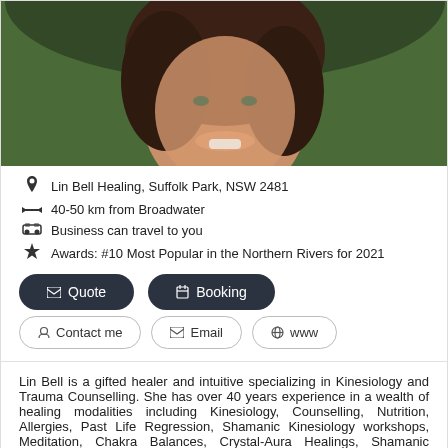[Figure (photo): Portrait photo of a smiling woman with curly dark hair, outdoor background]
Lin Bell Healing, Suffolk Park, NSW 2481
40-50 km from Broadwater
Business can travel to you
Awards: #10 Most Popular in the Northern Rivers for 2021
Quote
Booking
Contact me
Email
www
Lin Bell is a gifted healer and intuitive specializing in Kinesiology and Trauma Counselling. She has over 40 years experience in a wealth of healing modalities including Kinesiology, Counselling, Nutrition, Allergies, Past Life Regression, Shamanic Kinesiology workshops, Meditation, Chakra Balances, Crystal-Aura Healings, Shamanic Healing,